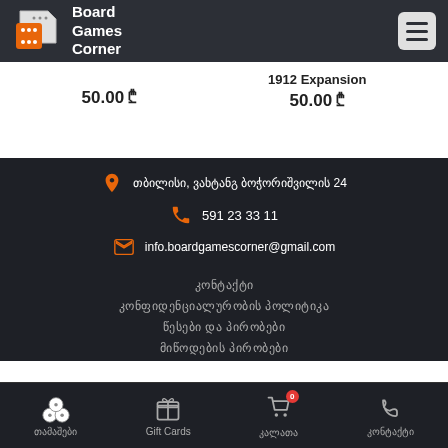Board Games Corner
50.00 ₾
1912 Expansion
50.00 ₾
თბილისი, ვახტანგ ბოჭორიშვილის 24
591 23 33 11
info.boardgamescorner@gmail.com
კონტაქტი
კონფიდენციალურობის პოლიტიკა
წესები და პირობები
მიწოდების პირობები
თამაშები  Gift Cards  კალათა  კონტაქტი